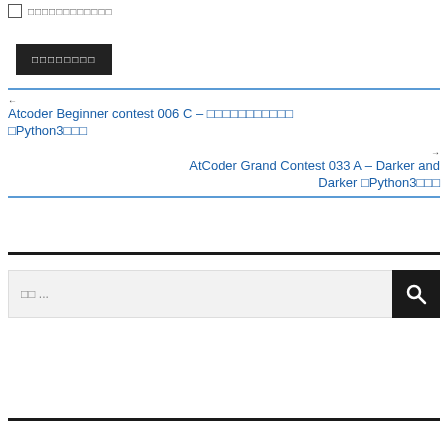□ □□□□□□□□□□□
□□□□□□□□
← Atcoder Beginner contest 006 C – □□□□□□□□□□□ □Python3□□□
AtCoder Grand Contest 033 A – Darker and Darker □Python3□□□ →
□□ ...